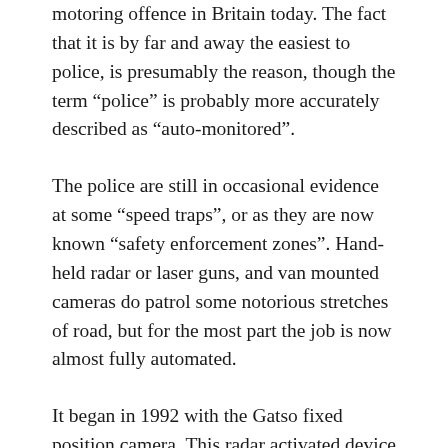motoring offence in Britain today. The fact that it is by far and away the easiest to police, is presumably the reason, though the term “police” is probably more accurately described as “auto-monitored”.
The police are still in occasional evidence at some “speed traps”, or as they are now known “safety enforcement zones”. Hand-held radar or laser guns, and van mounted cameras do patrol some notorious stretches of road, but for the most part the job is now almost fully automated.
It began in 1992 with the Gatso fixed position camera. This radar activated device scans traffic as it Continue reading